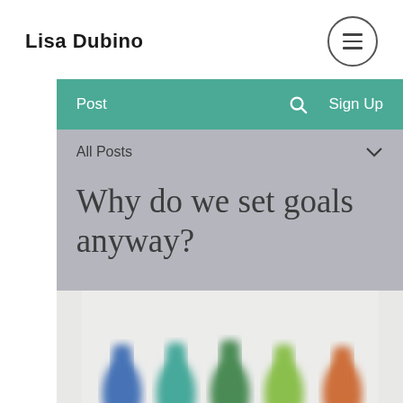Lisa Dubino
Post   Sign Up
All Posts
Why do we set goals anyway?
[Figure (photo): Blurred colorful bottles arranged in a row, showing blue, teal, green, yellow-green, and orange colors]